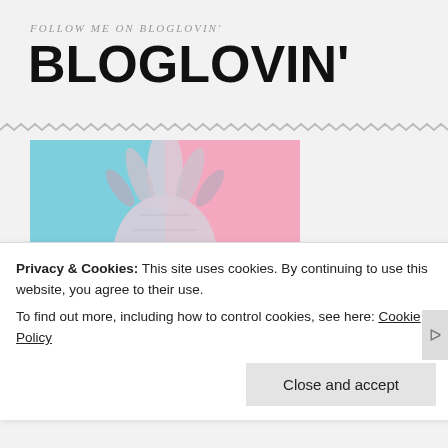FOLLOW ME ON BLOGLOVIN'
BLOGLOVIN'
[Figure (illustration): Pineapple image with blue and pink split background, with 'COCONUT LANE .COM' text at bottom]
Privacy & Cookies: This site uses cookies. By continuing to use this website, you agree to their use.
To find out more, including how to control cookies, see here: Cookie Policy
Close and accept